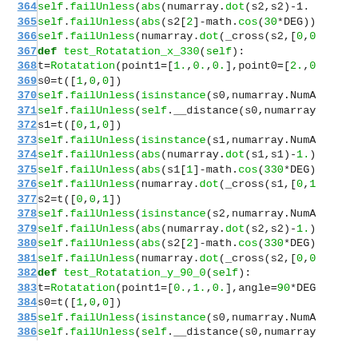[Figure (screenshot): Source code listing in Python showing unit test methods for rotation transformations, lines 364-386, with line numbers in blue on the left and code in monospace font with green keywords.]